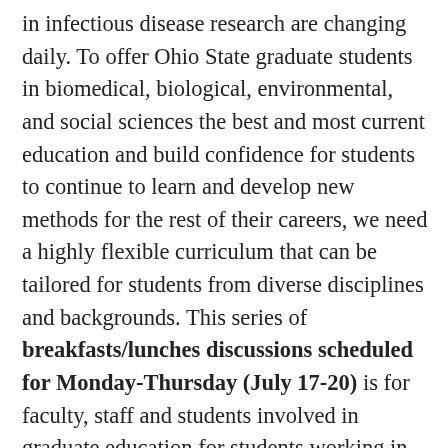in infectious disease research are changing daily. To offer Ohio State graduate students in biomedical, biological, environmental, and social sciences the best and most current education and build confidence for students to continue to learn and develop new methods for the rest of their careers, we need a highly flexible curriculum that can be tailored for students from diverse disciplines and backgrounds. This series of breakfasts/lunches discussions scheduled for Monday-Thursday (July 17-20) is for faculty, staff and students involved in graduate education for students working in all aspects of infectious disease research (and other related disciplines) to come